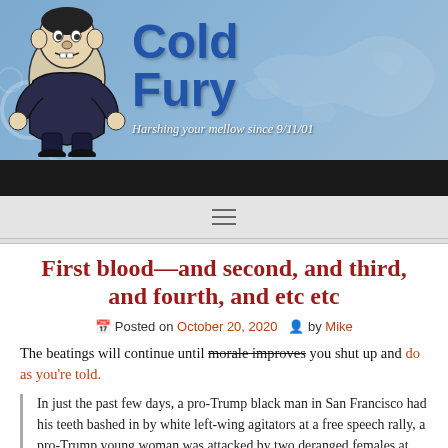[Figure (illustration): Cold Fury blog header banner with cartoon mascot character (angry fighter), blue background with world map watermark, site title 'Cold Fury' in bold blue text, tagline 'Harshing your mellow since 9/11/01' in italic white]
First blood—and second, and third, and fourth, and etc etc
Posted on October 20, 2020  by Mike
The beatings will continue until morale improves you shut up and do as you're told.
In just the past few days, a pro-Trump black man in San Francisco had his teeth bashed in by white left-wing agitators at a free speech rally, a pro-Trump young woman was attacked by two deranged females at the Women's